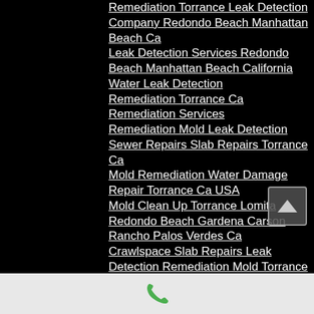Remediation Torrance Leak Detection Company Redondo Beach Manhattan Beach Ca
Leak Detection Services Redondo Beach Manhattan Beach California
Water Leak Detection
Remediation Torrance Ca
Remediation Services
Remediation Mold Leak Detection Sewer Repairs Slab Repairs Torrance Ca
Mold Remediation Water Damage Repair Torrance Ca USA
Mold Clean Up Torrance Lomita Redondo Beach Gardena Carson Rancho Palos Verdes Ca
Crawlspace Slab Repairs Leak Detection Remediation Mold Torrance Ca Gardena Manhattan Beach Lomita Redondo Beach Ca
National City Torrance California Mold ...